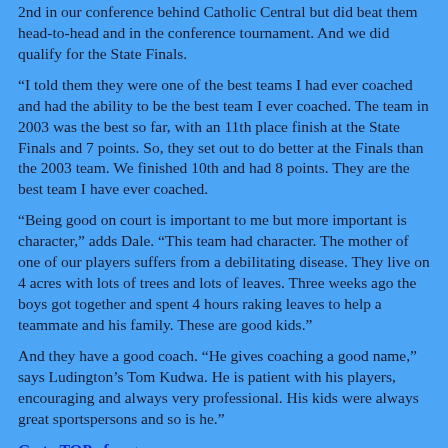2nd in our conference behind Catholic Central but did beat them head-to-head and in the conference tournament.  And we did qualify for the State Finals.
“I told them they were one of the best teams I had ever coached and had the ability to be the best team I ever coached.  The team in 2003 was the best so far, with an 11th place finish at the State Finals and 7 points.  So, they set out to do better at the Finals than the 2003 team.  We finished 10th and had 8 points.  They are the best team I have ever coached.
“Being good on court is important to me but more important is character,” adds Dale.  “This team had character.  The mother of one of our players suffers from a debilitating disease.  They live on 4 acres with lots of trees and lots of leaves.  Three weeks ago the boys got together and spent 4 hours raking leaves to help a teammate and his family.  These are good kids.”
And they have a good coach. “He gives coaching a good name,” says Ludington’s Tom Kudwa. He is patient with his players, encouraging and always very professional. His kids were always great sportspersons and so is he.”
Go to TOP of page